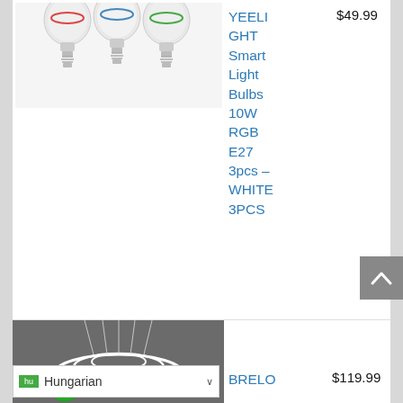[Figure (photo): Three white smart LED bulbs with E27 base]
YEELIGHT Smart Light Bulbs 10W RGB E27 3pcs – WHITE 3PCS
$49.99
GBL
[Figure (photo): Dark gray background with three circular pendant light rings and a remote control]
BRELO
$119.99
fla
hu Hungarian